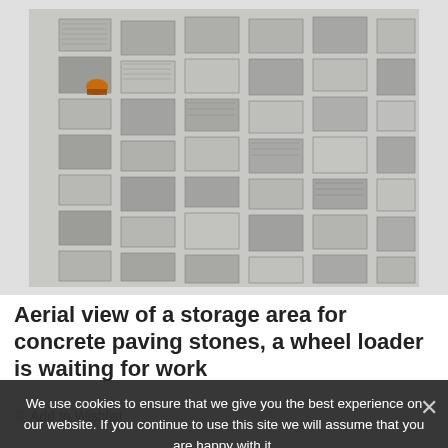[Figure (photo): Aerial view of a storage area for concrete paving stones laid out in rows, with a wheel loader visible in the upper left area of the image.]
Aerial view of a storage area for concrete paving stones, a wheel loader is waiting for work
We use cookies to ensure that we give you the best experience on our website. If you continue to use this site we will assume that you are happy with it.